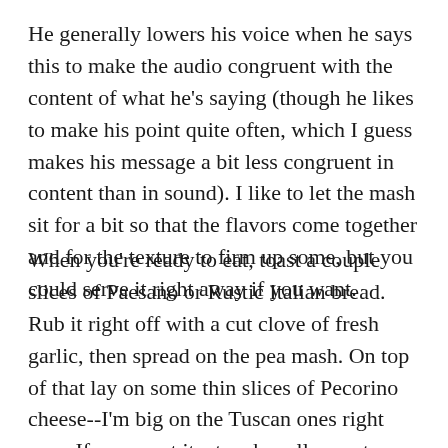He generally lowers his voice when he says this to make the audio congruent with the content of what he's saying (though he likes to make his point quite often, which I guess makes his message a bit less congruent in content than in sound). I like to let the mash sit for a bit so that the flavors come together and for the texture to firm up some, but you could serve it right away if you want.
When you're ready to eat, toast a couple slices of Paesano or Rustic Italian bread. Rub it right off with a cut clove of fresh garlic, then spread on the pea mash. On top of that lay on some thin slices of Pecorino cheese--I'm big on the Tuscan ones right now. If you want it a touch mellower, try some of